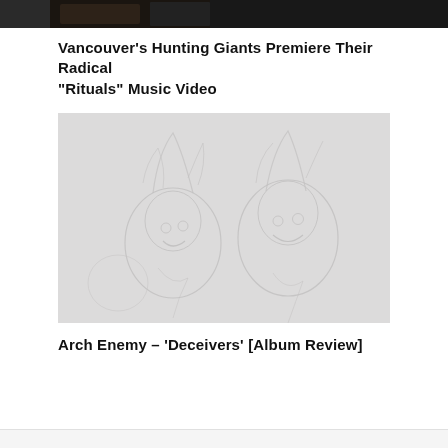[Figure (photo): Dark cropped image at the top of the page, appears to show people's faces in dim/dark lighting, partially cropped]
Vancouver’s Hunting Giants Premiere Their Radical “Rituals” Music Video
[Figure (illustration): Light gray illustrated image showing stylized figures with elaborate headwear and expressive faces, drawn in a sketch/line art style on a light gray background]
Arch Enemy – ‘Deceivers’ [Album Review]